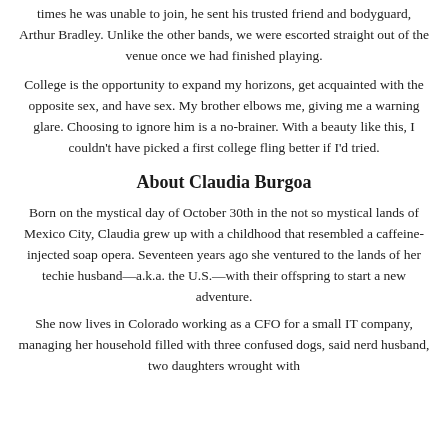times he was unable to join, he sent his trusted friend and bodyguard, Arthur Bradley. Unlike the other bands, we were escorted straight out of the venue once we had finished playing.
College is the opportunity to expand my horizons, get acquainted with the opposite sex, and have sex. My brother elbows me, giving me a warning glare. Choosing to ignore him is a no-brainer. With a beauty like this, I couldn't have picked a first college fling better if I'd tried.
About Claudia Burgoa
Born on the mystical day of October 30th in the not so mystical lands of Mexico City, Claudia grew up with a childhood that resembled a caffeine-injected soap opera. Seventeen years ago she ventured to the lands of her techie husband—a.k.a. the U.S.—with their offspring to start a new adventure.
She now lives in Colorado working as a CFO for a small IT company, managing her household filled with three confused dogs, said nerd husband, two daughters wrought with teenage hormones, and this hulk of a son of theirs. To...